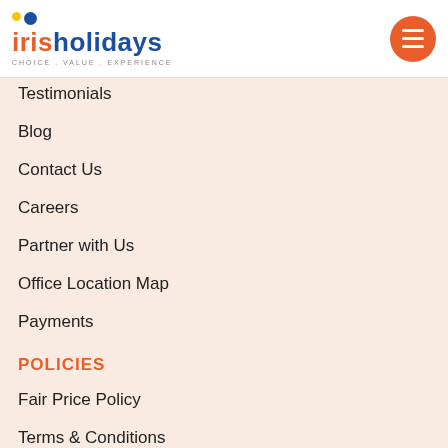iris holidays — Choice. Value. Experience.
Testimonials
Blog
Contact Us
Careers
Partner with Us
Office Location Map
Payments
POLICIES
Fair Price Policy
Terms & Conditions
Privacy Policy
Cancellation & Refund Policy
Testimonial Policy